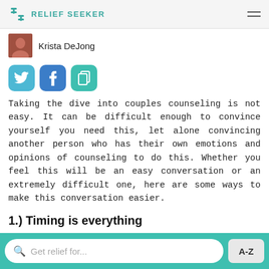RELIEF SEEKER
Krista DeJong
[Figure (other): Social share buttons: Twitter (blue bird), Facebook (blue f), Copy link (green copy icon)]
Taking the dive into couples counseling is not easy. It can be difficult enough to convince yourself you need this, let alone convincing another person who has their own emotions and opinions of counseling to do this. Whether you feel this will be an easy conversation or an extremely difficult one, here are some ways to make this conversation easier.
1.) Timing is everything
The timing of this conversation is just as important if not more important than the words you say. Like many people in
Get relief for...  A-Z